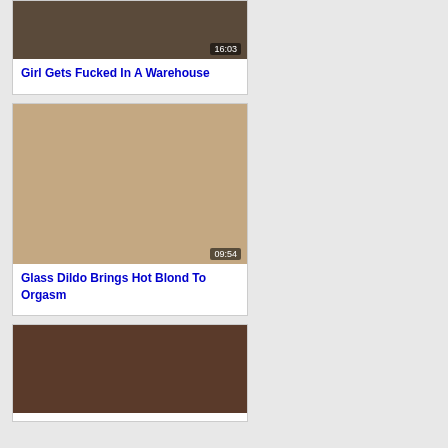[Figure (photo): Video thumbnail showing intimate scene with duration overlay 16:03]
Girl Gets Fucked In A Warehouse
[Figure (photo): Video thumbnail showing blonde woman with duration overlay 09:54]
Glass Dildo Brings Hot Blond To Orgasm
[Figure (photo): Video thumbnail showing close-up intimate scene, partial view]